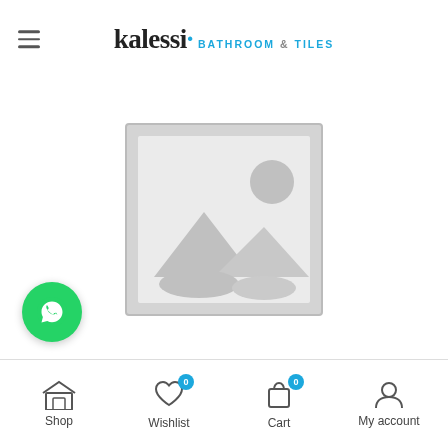kalessi BATHROOM & TILES
[Figure (illustration): Placeholder image icon — a grey square frame with a mountain/landscape silhouette and sun circle inside, representing a missing product image]
[Figure (illustration): WhatsApp floating button — green circle with white WhatsApp chat bubble icon]
Shop | Wishlist 0 | Cart 0 | My account